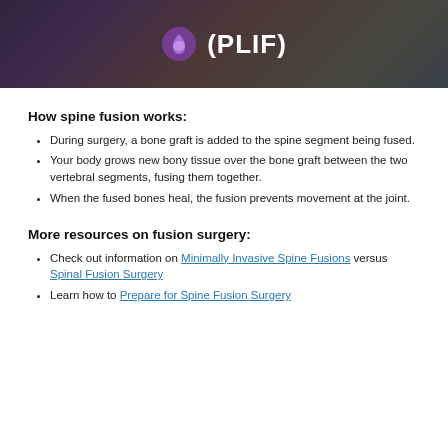[Figure (photo): Medical illustration banner showing spinal anatomy with text '(PLIF)' and a logo/icon on the left, overlaid on a dark-tinted image of vertebral segments]
How spine fusion works:
During surgery, a bone graft is added to the spine segment being fused.
Your body grows new bony tissue over the bone graft between the two vertebral segments, fusing them together.
When the fused bones heal, the fusion prevents movement at the joint.
More resources on fusion surgery:
Check out information on Minimally Invasive Spine Fusions versus Spinal Fusion Surgery
Learn how to Prepare for Spine Fusion Surgery